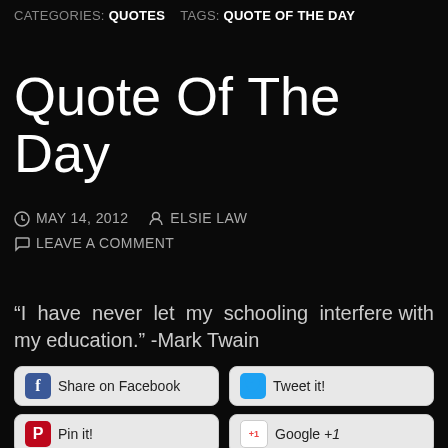CATEGORIES: QUOTES   TAGS: QUOTE OF THE DAY
Quote Of The Day
MAY 14, 2012   ELSIE LAW   LEAVE A COMMENT
“I have never let my schooling interfere with my education.” -Mark Twain
[Figure (screenshot): Social sharing buttons: Share on Facebook, Tweet it!, Pin it!, Google +1, Linkedin, Tumblr, Email]